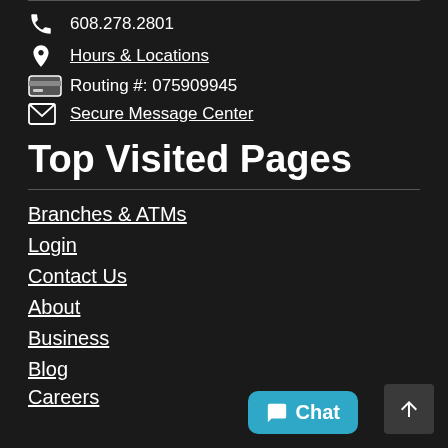608.278.2801
Hours & Locations
Routing #: 075909945
Secure Message Center
Top Visited Pages
Branches & ATMs
Login
Contact Us
About
Business
Blog
Careers